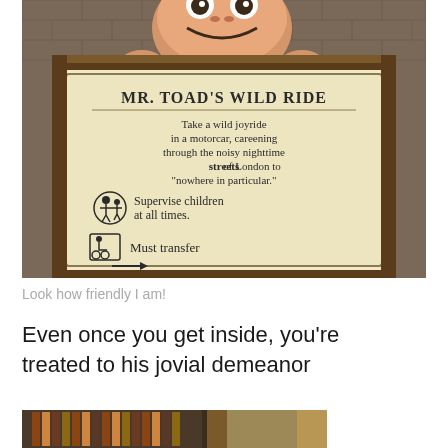[Figure (photo): Photo of Mr. Toad's Wild Ride sign at a Disney park. A cartoon toad figure peers over a wooden sign frame. The sign reads: MR. TOAD'S WILD RIDE - Take a wild joyride in a motorcar, careening through the noisy nighttime streets of London to 'nowhere in particular.' Supervise children at all times. Must transfer (with wheelchair icon and arrow).]
Look how friendly I am!
Even once you get inside, you're treated to his jovial demeanor
[Figure (photo): Partial photo of the interior of Mr. Toad's Wild Ride, showing dark themed room with bookshelves and curtains.]